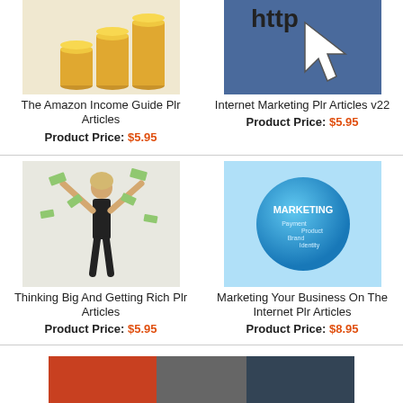[Figure (photo): Stacked gold coins on white background]
The Amazon Income Guide Plr Articles
Product Price: $5.95
[Figure (photo): Computer cursor/mouse pointer on blue background]
Internet Marketing Plr Articles v22
Product Price: $5.95
[Figure (photo): Woman with arms raised with money bills flying around]
Thinking Big And Getting Rich Plr Articles
Product Price: $5.95
[Figure (photo): Blue globe/sphere with marketing words: MARKETING, Payment, Product, Brand, Identity]
Marketing Your Business On The Internet Plr Articles
Product Price: $8.95
[Figure (photo): Partially visible image at bottom of page]